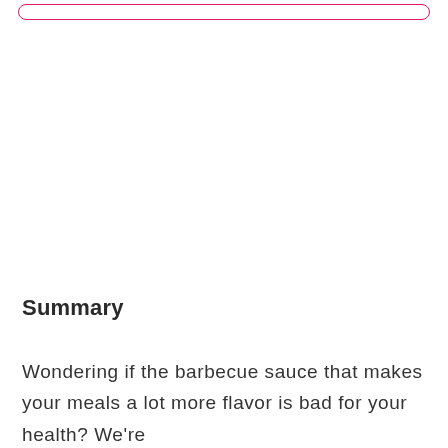Summary
Wondering if the barbecue sauce that makes your meals a lot more flavor is bad for your health? We're